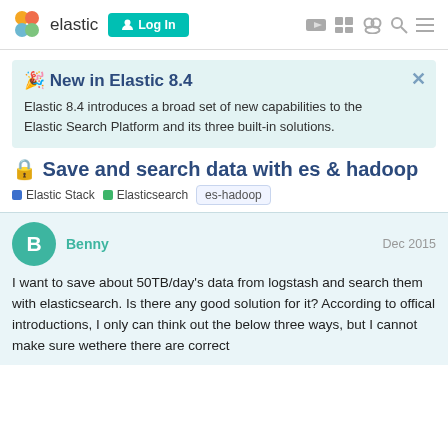[Figure (screenshot): Elastic community forum navigation bar with logo, Login button, and icons]
🎉 New in Elastic 8.4
Elastic 8.4 introduces a broad set of new capabilities to the Elastic Search Platform and its three built-in solutions.
🔒 Save and search data with es & hadoop
Elastic Stack  Elasticsearch  es-hadoop
Benny  Dec 2015
I want to save about 50TB/day's data from logstash and search them with elasticsearch. Is there any good solution for it? According to offical introductions, I only can think out the below three ways, but I cannot make sure wethere there are correct